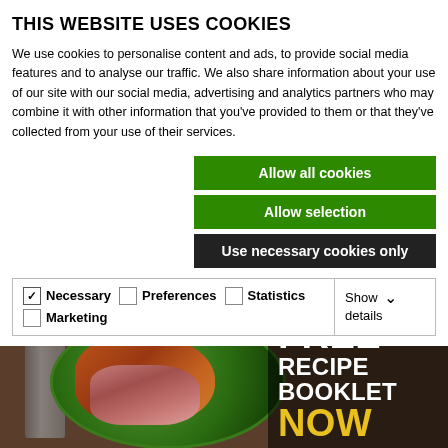THIS WEBSITE USES COOKIES
We use cookies to personalise content and ads, to provide social media features and to analyse our traffic. We also share information about your use of our site with our social media, advertising and analytics partners who may combine it with other information that you've provided to them or that they've collected from your use of their services.
Allow all cookies
Allow selection
Use necessary cookies only
Necessary  Preferences  Statistics  Marketing  Show details
[Figure (photo): Food photo showing a plated dish on a green plate with meat and vegetables, fork and knife on the side. Text overlay reads FREE RECIPE BOOKLET NOW in white and yellow letters on dark background.]